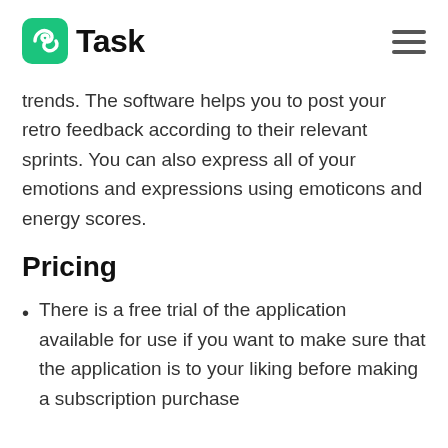nTask
trends. The software helps you to post your retro feedback according to their relevant sprints. You can also express all of your emotions and expressions using emoticons and energy scores.
Pricing
There is a free trial of the application available for use if you want to make sure that the application is to your liking before making a subscription purchase